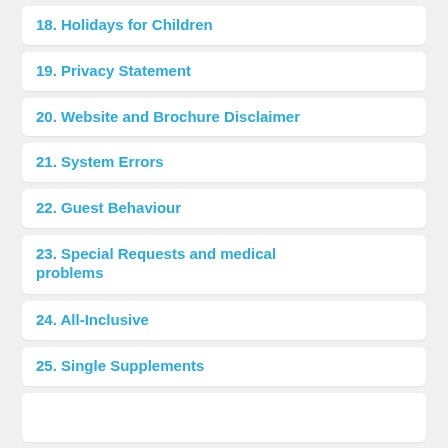18. Holidays for Children
19. Privacy Statement
20. Website and Brochure Disclaimer
21. System Errors
22. Guest Behaviour
23. Special Requests and medical problems
24. All-Inclusive
25. Single Supplements